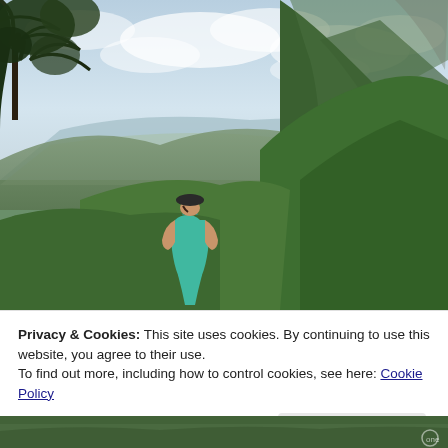[Figure (photo): A woman in a teal/turquoise tank top and dark cap sits on a rocky ledge overlooking a sweeping mountain valley with dense green forest on the right, a steep cliff face, and an open valley with blue-grey sky beyond. Trees visible on the upper left.]
Privacy & Cookies: This site uses cookies. By continuing to use this website, you agree to their use.
To find out more, including how to control cookies, see here: Cookie Policy
Close and accept
[Figure (photo): Bottom strip showing partial view of another outdoor/nature photo.]